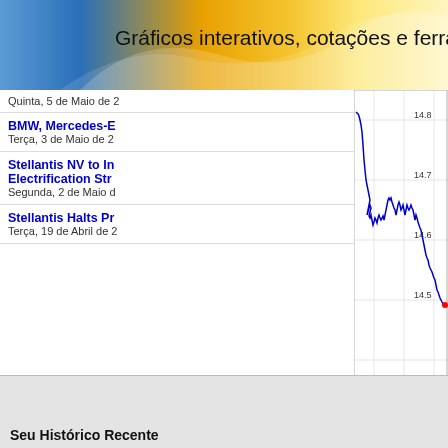Gráficos interativos, cotações e ferram
Quinta, 5 de Maio de 2
BMW, Mercedes-E
Terça, 3 de Maio de 2
Stellantis NV to In Electrification Str
Segunda, 2 de Maio d
Stellantis Halts Pr
Terça, 19 de Abril de 2
[Figure (continuous-plot): Intraday stock price chart for Stellantis showing price movement from 0500 to 1100. Y-axis ranges from approximately 14.45 to 14.8. Price starts high around 14.8, drops sharply, fluctuates between 14.5-14.65, then declines to around 14.45 by end of session. Copyright (c) www.advfn.com]
Mais Notícias de Stellantis
Seu Histórico Recente